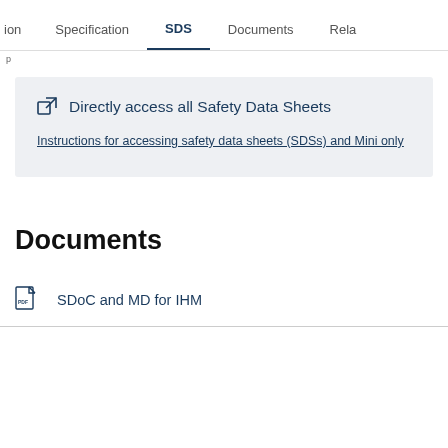ion  Specification  SDS  Documents  Rela
Directly access all Safety Data Sheets
Instructions for accessing safety data sheets (SDSs) and Mini only
Documents
SDoC and MD for IHM